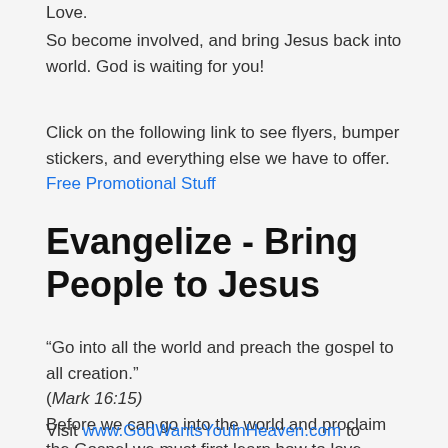Love.
So become involved, and bring Jesus back into world. God is waiting for you!
Click on the following link to see flyers, bumper stickers, and everything else we have to offer. Free Promotional Stuff
Evangelize - Bring People to Jesus
“Go into all the world and preach the gospel to all creation.” (Mark 16:15)
Before we can go into the world and proclaim the Gospel we must first learn how to love.
Visit www.GodWantsYouInHeaven.com to learn how to